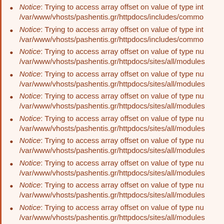Notice: Trying to access array offset on value of type int /var/www/vhosts/pashentis.gr/httpdocs/includes/commo
Notice: Trying to access array offset on value of type int /var/www/vhosts/pashentis.gr/httpdocs/includes/commo
Notice: Trying to access array offset on value of type nu /var/www/vhosts/pashentis.gr/httpdocs/sites/all/modules
Notice: Trying to access array offset on value of type nu /var/www/vhosts/pashentis.gr/httpdocs/sites/all/modules
Notice: Trying to access array offset on value of type nu /var/www/vhosts/pashentis.gr/httpdocs/sites/all/modules
Notice: Trying to access array offset on value of type nu /var/www/vhosts/pashentis.gr/httpdocs/sites/all/modules
Notice: Trying to access array offset on value of type nu /var/www/vhosts/pashentis.gr/httpdocs/sites/all/modules
Notice: Trying to access array offset on value of type nu /var/www/vhosts/pashentis.gr/httpdocs/sites/all/modules
Notice: Trying to access array offset on value of type nu /var/www/vhosts/pashentis.gr/httpdocs/sites/all/modules
Notice: Trying to access array offset on value of type nu /var/www/vhosts/pashentis.gr/httpdocs/sites/all/modules
Notice: Trying to access array offset on value of type nu /var/www/vhosts/pashentis.gr/httpdocs/sites/all/modules